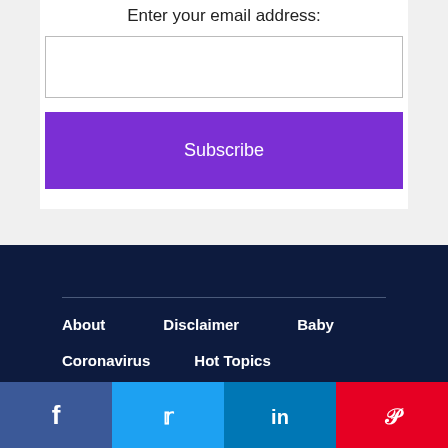Enter your email address:
Subscribe
About
Disclaimer
Baby
Coronavirus
Hot Topics
March of Dimes
Mommy
Planning for Baby
Pregnancy
[Figure (infographic): Social media share buttons: Facebook (blue), Twitter (light blue), LinkedIn (blue), Pinterest (red), each showing their respective icons]